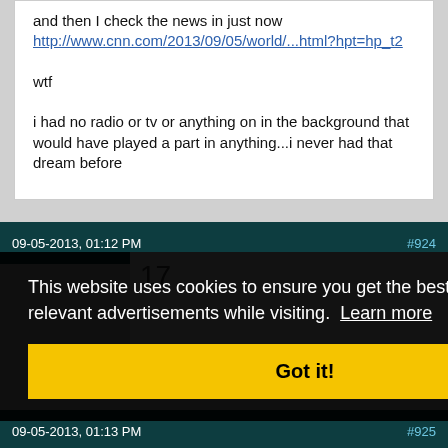and then I check the news in just now
http://www.cnn.com/2013/09/05/world/…html?hpt=hp_t2

wtf

i had no radio or tv or anything on in the background that would have played a part in anything…i never had that dream before
09-05-2013, 01:12 PM   #924
17
09-05-2013, 01:13 PM   #925
This website uses cookies to ensure you get the best experience and relevant advertisements while visiting. Learn more
Got it!